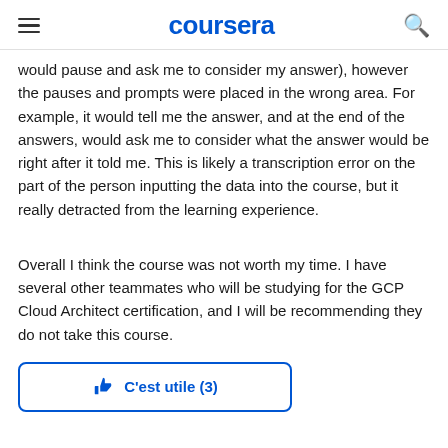coursera
would pause and ask me to consider my answer), however the pauses and prompts were placed in the wrong area. For example, it would tell me the answer, and at the end of the answers, would ask me to consider what the answer would be right after it told me. This is likely a transcription error on the part of the person inputting the data into the course, but it really detracted from the learning experience.
Overall I think the course was not worth my time. I have several other teammates who will be studying for the GCP Cloud Architect certification, and I will be recommending they do not take this course.
C'est utile (3)